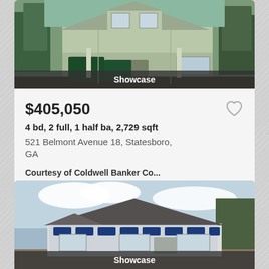[Figure (photo): Exterior photo of a two-story house under construction with green dumpster in front, sage green siding and board-and-batten accents. Banner reads 'Showcase'.]
$405,050
4 bd, 2 full, 1 half ba, 2,729 sqft
521 Belmont Avenue 18, Statesboro, GA
Courtesy of Coldwell Banker Co...
[Figure (photo): Exterior photo of a single-story ranch house under construction with Pella window wrap visible, dark roof, set against cloudy sky. Banner reads 'Showcase'.]